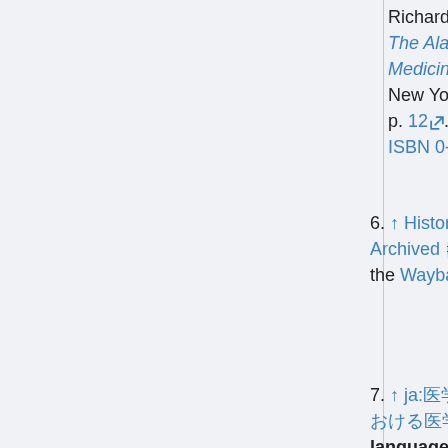Richard (1994). The Alarming History of Medicine. New York: St. Martin's Press. p. 12. ISBN 0-312-10411-1.
6. ↑ History of Medicine Days [PDF] Archived [PDF] June 15, 2004, at the Wayback Machine, p. 132.
7. ↑ ja:医学の歴史/日本医学史における医学教育 (Japanese language edition) Retribute date